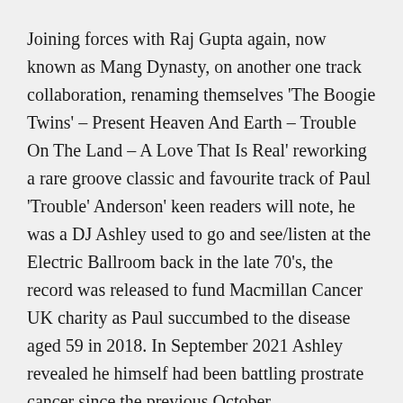Joining forces with Raj Gupta again, now known as Mang Dynasty, on another one track collaboration, renaming themselves 'The Boogie Twins' – Present Heaven And Earth – Trouble On The Land – A Love That Is Real' reworking a rare groove classic and favourite track of Paul 'Trouble' Anderson' keen readers will note, he was a DJ Ashley used to go and see/listen at the Electric Ballroom back in the late 70's, the record was released to fund Macmillan Cancer UK charity as Paul succumbed to the disease aged 59 in 2018. In September 2021 Ashley revealed he himself had been battling prostrate cancer since the previous October.